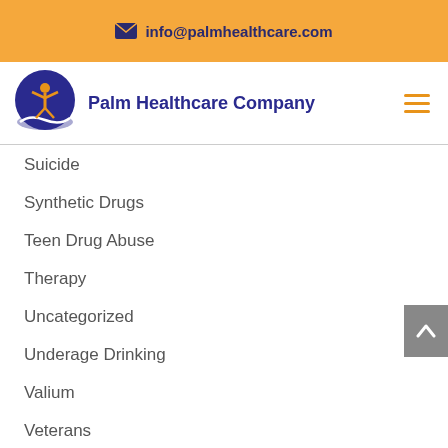info@palmhealthcare.com
[Figure (logo): Palm Healthcare Company logo — blue circle with orange figure and white wave, beside bold blue text 'Palm Healthcare Company' and orange hamburger menu icon]
Suicide
Synthetic Drugs
Teen Drug Abuse
Therapy
Uncategorized
Underage Drinking
Valium
Veterans
Vicodin
Vincent van Gogh